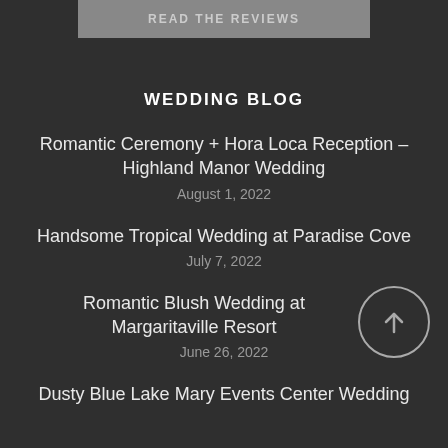[Figure (other): A partially visible button with text 'READ THE REVIEWS' on a dark background at the top of the page]
WEDDING BLOG
Romantic Ceremony + Hora Loca Reception – Highland Manor Wedding
August 1, 2022
Handsome Tropical Wedding at Paradise Cove
July 7, 2022
Romantic Blush Wedding at Margaritaville Resort
June 26, 2022
Dusty Blue Lake Mary Events Center Wedding